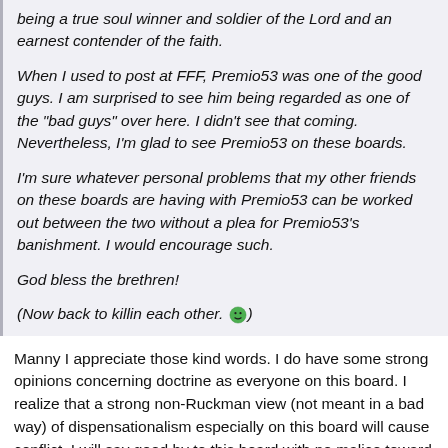being a true soul winner and soldier of the Lord and an earnest contender of the faith.

When I used to post at FFF, Premio53 was one of the good guys. I am surprised to see him being regarded as one of the "bad guys" over here. I didn't see that coming. Nevertheless, I'm glad to see Premio53 on these boards.

I'm sure whatever personal problems that my other friends on these boards are having with Premio53 can be worked out between the two without a plea for Premio53's banishment. I would encourage such.

God bless the brethren!

(Now back to killin each other. 😁)
Manny I appreciate those kind words. I do have some strong opinions concerning doctrine as everyone on this board. I realize that a strong non-Ruckman view (not meant in a bad way) of dispensationalism especially on this board will cause conflict. I will say good by to this board with no malice toward anyone. George, if I have personally